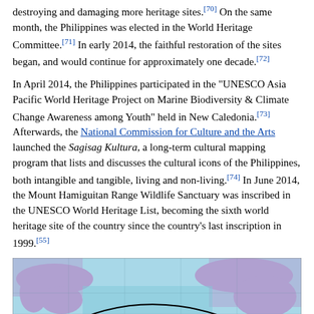destroying and damaging more heritage sites.[70] On the same month, the Philippines was elected in the World Heritage Committee.[71] In early 2014, the faithful restoration of the sites began, and would continue for approximately one decade.[72]
In April 2014, the Philippines participated in the "UNESCO Asia Pacific World Heritage Project on Marine Biodiversity & Climate Change Awareness among Youth" held in New Caledonia.[73] Afterwards, the National Commission for Culture and the Arts launched the Sagisag Kultura, a long-term cultural mapping program that lists and discusses the cultural icons of the Philippines, both intangible and tangible, living and non-living.[74] In June 2014, the Mount Hamiguitan Range Wildlife Sanctuary was inscribed in the UNESCO World Heritage List, becoming the sixth world heritage site of the country since the country's last inscription in 1999.[55]
[Figure (map): A world map showing the Manila Galleon trade route with an arc from Manila (Philippines) to Acapulco (Mexico) across the Pacific Ocean, with land shown in purple/violet and ocean in blue-green.]